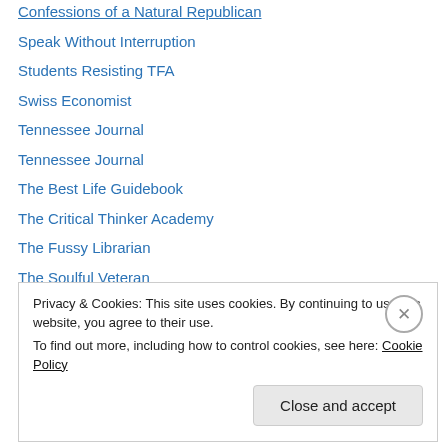Confessions of a Natural Republican
Speak Without Interruption
Students Resisting TFA
Swiss Economist
Tennessee Journal
Tennessee Journal
The Best Life Guidebook
The Critical Thinker Academy
The Fussy Librarian
The Soulful Veteran
The Velvet Rocket
Uphill Writing
Victoria Dixon
Privacy & Cookies: This site uses cookies. By continuing to use this website, you agree to their use. To find out more, including how to control cookies, see here: Cookie Policy
Close and accept